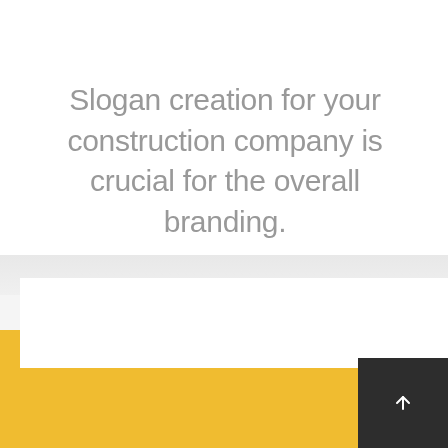Slogan creation for your construction company is crucial for the overall branding.
[Figure (other): Yellow/gold colored section at bottom of page with a faint circular loading/scroll icon, alongside a dark gray back-to-top button with an upward arrow in the bottom right corner.]